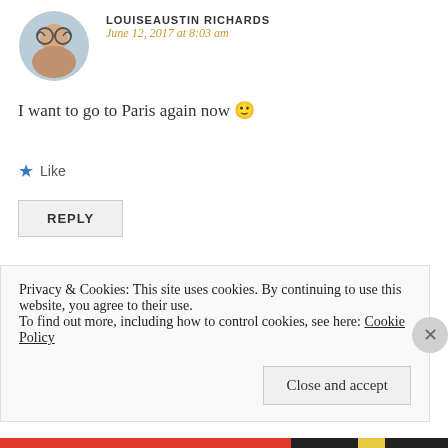[Figure (photo): Circular avatar photo of a woman with round glasses and blue eye shadow]
LOUISEAUSTIN RICHARDS
June 12, 2017 at 8:03 am
I want to go to Paris again now 🙂
★ Like
REPLY
[Figure (photo): Circular avatar photo of a young woman with a white beanie hat]
WHEREKIMMYWENT
June 14, 2017 at 8:15 am
Privacy & Cookies: This site uses cookies. By continuing to use this website, you agree to their use.
To find out more, including how to control cookies, see here: Cookie Policy
Close and accept